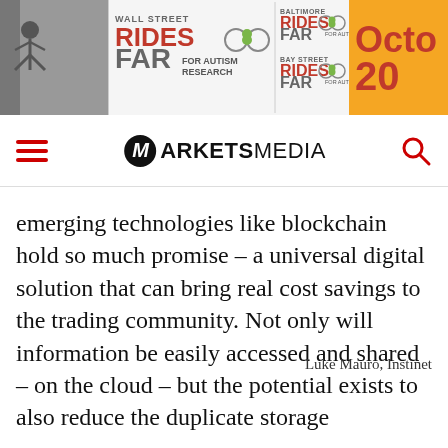[Figure (illustration): Banner advertisement for 'Wall Street Rides Far for Autism Research', 'Baltimore Rides Far', 'Bay Street Rides Far' charity cycling events, with an orange panel showing 'Octo 20']
MARKETS MEDIA
emerging technologies like blockchain hold so much promise – a universal digital solution that can bring real cost savings to the trading community. Not only will information be easily accessed and shared – on the cloud – but the potential exists to also reduce the duplicate storage
Luke Mauro, Instinet